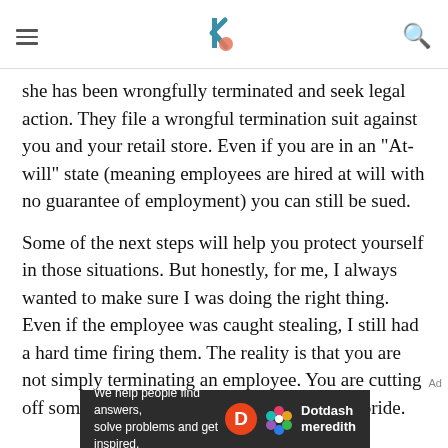she has been wrongfully terminated and seek legal action. They file a wrongful termination suit against you and your retail store. Even if you are in an "At-will" state (meaning employees are hired at will with no guarantee of employment) you can still be sued.
Some of the next steps will help you protect yourself in those situations. But honestly, for me, I always wanted to make sure I was doing the right thing. Even if the employee was caught stealing, I still had a hard time firing them. The reality is that you are not simply terminating an employee. You are cutting off someone's livelihood and smashing their pride.
[Figure (infographic): Dotdash Meredith advertisement banner: 'We help people find answers, solve problems and get inspired.' with Dotdash Meredith logos on dark background]